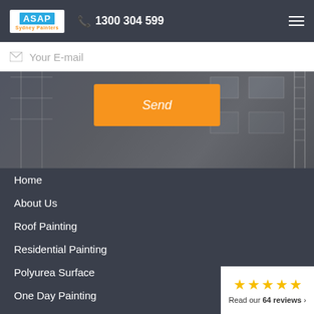ASAP Sydney Painters | 1300 304 599
[Figure (screenshot): Email input field with placeholder text 'Your E-mail' and envelope icon, on a dark hero image background of a building with scaffolding]
Send
Home
About Us
Roof Painting
Residential Painting
Polyurea Surface
One Day Painting
Industrial Painting
Read our 64 reviews ›